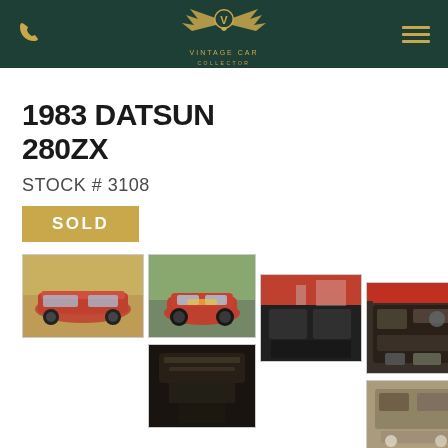Vintage Car Collector — navigation header with phone icon, logo, and menu icon
1983 DATSUN 280ZX
STOCK # 3108
SOLD
[Figure (photo): Red 1983 Datsun 280ZX side/rear view in outdoor setting]
[Figure (photo): Red 1983 Datsun 280ZX front view on pavement]
[Figure (photo): Interior view of 1983 Datsun 280ZX, red car open, person standing]
[Figure (photo): Engine bay of 1983 Datsun 280ZX, red car]
[Figure (photo): Undercarriage/top view of dark car interior]
[Figure (photo): Underside/mechanical view of 1983 Datsun 280ZX]